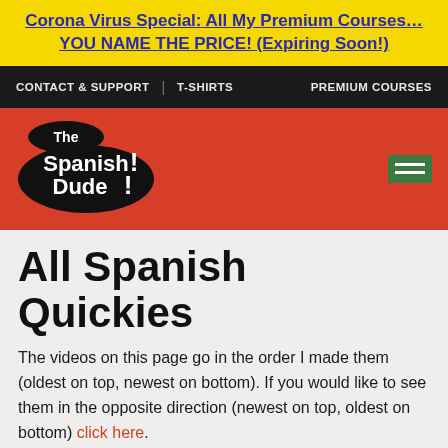Corona Virus Special: All My Premium Courses… YOU NAME THE PRICE! (Expiring Soon!)
CONTACT & SUPPORT | T-SHIRTS | PREMIUM COURSES
[Figure (logo): The Spanish Dude! logo — white text on dark rounded shapes inside a red banner header]
All Spanish Quickies
The videos on this page go in the order I made them (oldest on top, newest on bottom). If you would like to see them in the opposite direction (newest on top, oldest on bottom) click here.
How English Works: Adverbs